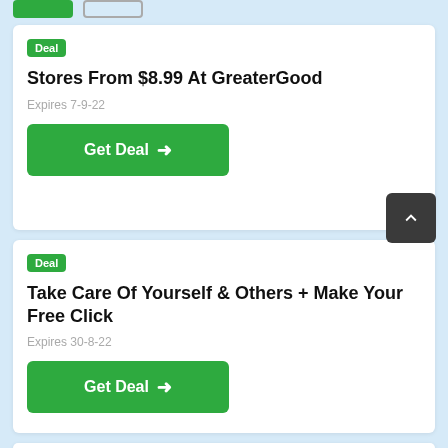[Figure (screenshot): Partial green and outline buttons at top of page]
Deal
Stores From $8.99 At GreaterGood
Expires 7-9-22
Get Deal →
Deal
Take Care Of Yourself & Others + Make Your Free Click
Expires 30-8-22
Get Deal →